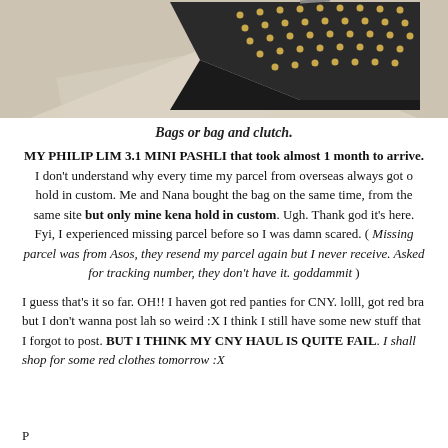[Figure (photo): Photo of a studded black clutch bag on a light beige background]
Bags or bag and clutch.
MY PHILIP LIM 3.1 MINI PASHLI that took almost 1 month to arrive. I don't understand why every time my parcel from overseas always got o hold in custom. Me and Nana bought the bag on the same time, from the same site but only mine kena hold in custom. Ugh. Thank god it's here. Fyi, I experienced missing parcel before so I was damn scared. ( Missing parcel was from Asos, they resend my parcel again but I never receive. Asked for tracking number, they don't have it. goddammit )
I guess that's it so far. OH!! I haven got red panties for CNY. lolll, got red bra but I don't wanna post lah so weird :X I think I still have some new stuff that I forgot to post. BUT I THINK MY CNY HAUL IS QUITE FAIL. I shall shop for some red clothes tomorrow :X
[partially visible/cut off text at bottom]